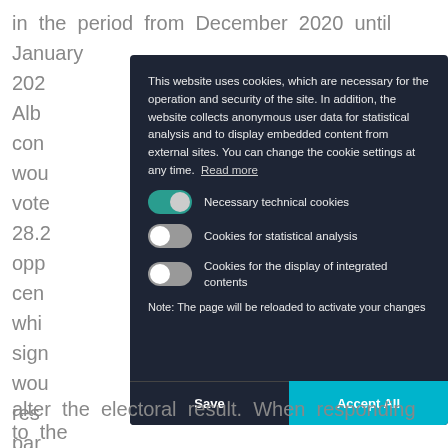in the period from December 2020 until January 202 Alb con wou vote 28.2 opp cen whi sign wou res par per con coa
[Figure (screenshot): Cookie consent modal dialog on a dark navy background with options for Necessary technical cookies (enabled), Cookies for statistical analysis (disabled), Cookies for the display of integrated contents (disabled), a note about page reload, and Save / Accept All buttons.]
alter the electoral result. When responding to the